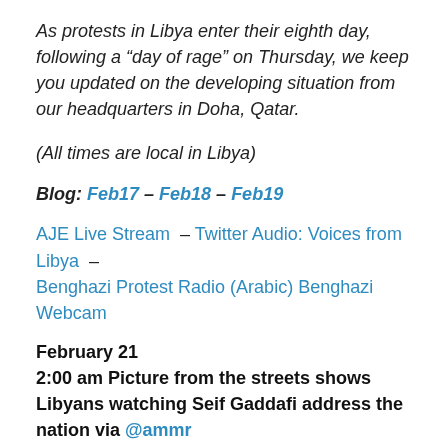As protests in Libya enter their eighth day, following a “day of rage” on Thursday, we keep you updated on the developing situation from our headquarters in Doha, Qatar.
(All times are local in Libya)
Blog: Feb17 – Feb18 – Feb19
AJE Live Stream – Twitter Audio: Voices from Libya – Benghazi Protest Radio (Arabic) Benghazi Webcam
February 21
2:00 am Picture from the streets shows Libyans watching Seif Gaddafi address the nation via @ammr